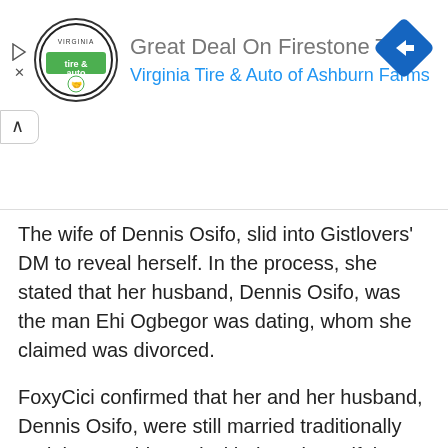[Figure (logo): Advertisement banner for Virginia Tire & Auto of Ashburn Farms featuring circular logo with 'tire & auto' text, a blue navigation diamond icon, and text 'Great Deal On Firestone Tires / Virginia Tire & Auto of Ashburn Farms']
The wife of Dennis Osifo, slid into Gistlovers' DM to reveal herself. In the process, she stated that her husband, Dennis Osifo, was the man Ehi Ogbegor was dating, whom she claimed was divorced.
FoxyCici confirmed that her and her husband, Dennis Osifo, were still married traditionally and they are blessed with three beautiful children. FoxyCici said that her and Ehi Ogbegor were close friends, even her husband, Dennis Osifo, once told